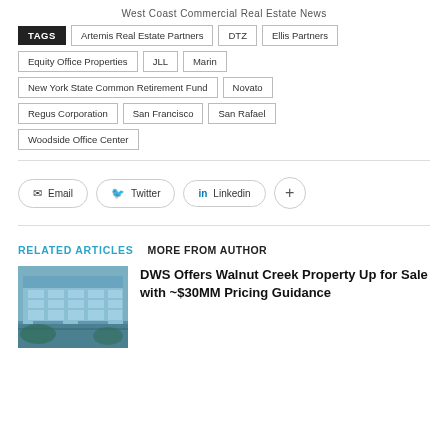West Coast Commercial Real Estate News
TAGS | Artemis Real Estate Partners | DTZ | Ellis Partners | Equity Office Properties | JLL | Marin | New York State Common Retirement Fund | Novato | Regus Corporation | San Francisco | San Rafael | Woodside Office Center
Email | Twitter | Linkedin | +
RELATED ARTICLES   MORE FROM AUTHOR
[Figure (photo): Commercial office building exterior photo]
DWS Offers Walnut Creek Property Up for Sale with ~$30MM Pricing Guidance